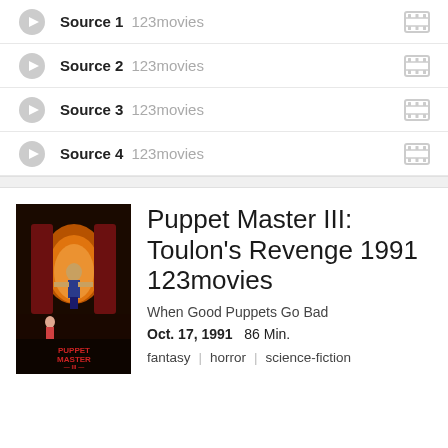Source 1   123movies
Source 2   123movies
Source 3   123movies
Source 4   123movies
[Figure (photo): Movie poster for Puppet Master III: Toulon's Revenge (1991), showing puppets in a dramatic scene with dark red and orange tones]
Puppet Master III: Toulon’s Revenge 1991 123movies
When Good Puppets Go Bad
Oct. 17, 1991   86 Min.
fantasy   horror   science-fiction